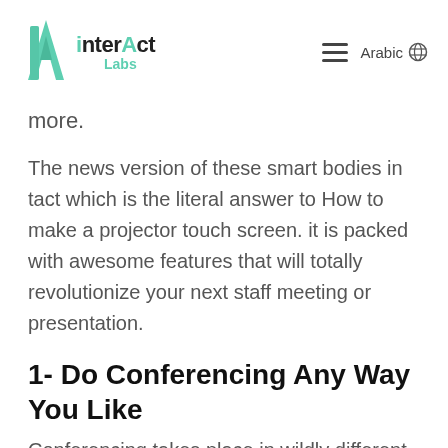interAct Labs | Arabic
more.
The news version of these smart bodies in tact which is the literal answer to How to make a projector touch screen. it is packed with awesome features that will totally revolutionize your next staff meeting or presentation.
1- Do Conferencing Any Way You Like
Conferencing takes place in wildly different settings